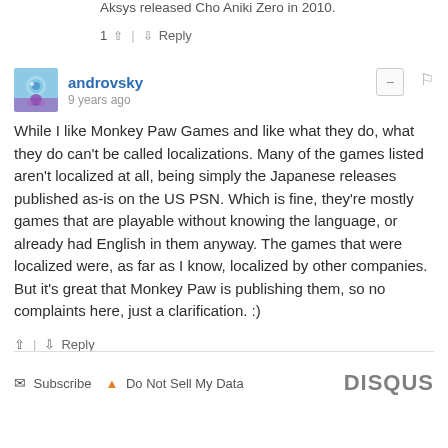Aksys released Cho Aniki Zero in 2010.
1 ↑ | ↓ Reply
androvsky
9 years ago
While I like Monkey Paw Games and like what they do, what they do can't be called localizations. Many of the games listed aren't localized at all, being simply the Japanese releases published as-is on the US PSN. Which is fine, they're mostly games that are playable without knowing the language, or already had English in them anyway. The games that were localized were, as far as I know, localized by other companies. But it's great that Monkey Paw is publishing them, so no complaints here, just a clarification. :)
↑ | ↓ Reply
Subscribe  Do Not Sell My Data   DISQUS